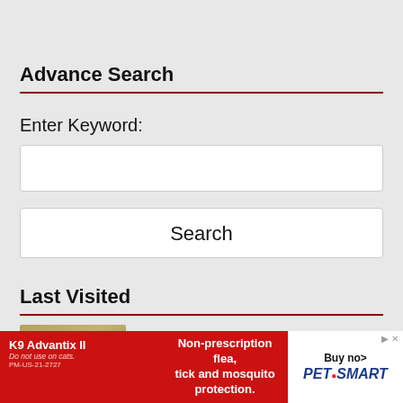Advance Search
Enter Keyword:
Search
Last Visited
Build Your Own Google Home-Enabled Smart
[Figure (infographic): Advertisement banner for K9 Advantix II flea, tick and mosquito protection product with PetSmart branding]